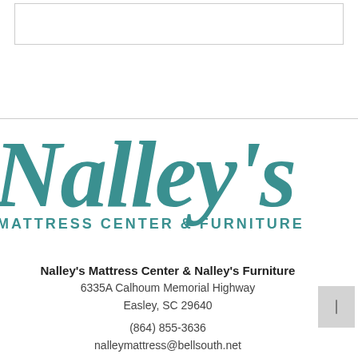[Figure (other): Empty white box with light gray border at top of page]
[Figure (logo): Nalley's Mattress Center & Furniture logo — large teal italic serif 'Nalley's' with sans-serif 'MATTRESS CENTER & FURNITURE' subtitle in teal]
Nalley's Mattress Center & Nalley's Furniture
6335A Calhoum Memorial Highway
Easley, SC 29640
(864) 855-3636
nalleymattress@bellsouth.net